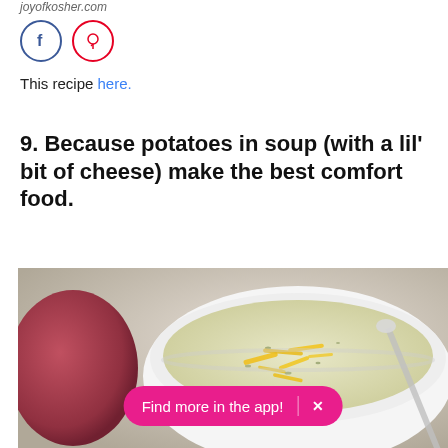joyofkosher.com
[Figure (other): Social media icons: Facebook (blue circle) and Pinterest (red circle)]
This recipe here.
9. Because potatoes in soup (with a lil' bit of cheese) make the best comfort food.
[Figure (photo): Photo of a white bowl of creamy potato cheese soup topped with shredded cheddar cheese, with a red potato visible in the background and a spoon resting in the bowl. A pink 'Find more in the app!' banner overlay appears at the bottom.]